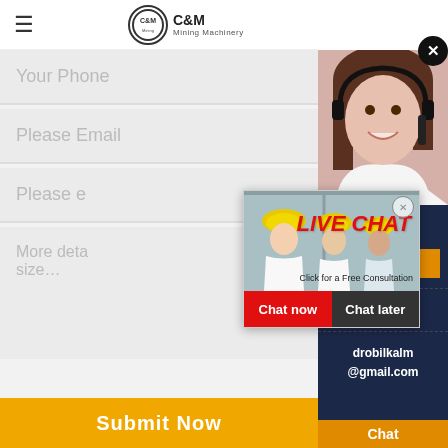C&M Mining Machinery
Your Phone
Please Email
Please enter...
More details such as material, capacity, input and output size...
[Figure (screenshot): Live Chat popup with construction workers in yellow hard hats, red LIVE CHAT text, Click for a Free Consultation, Chat now and Chat later buttons]
[Figure (photo): Woman wearing headset/headphones, customer service representative smiling]
have any requests, ick here.
Quotation
Enquiry
drobilkalm@gmail.com
Chat
Submit Now